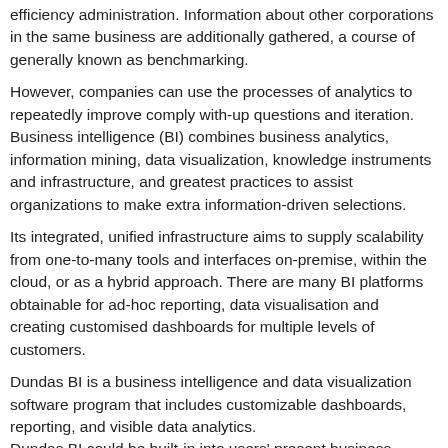efficiency administration. Information about other corporations in the same business are additionally gathered, a course of generally known as benchmarking.
However, companies can use the processes of analytics to repeatedly improve comply with-up questions and iteration. Business intelligence (BI) combines business analytics, information mining, data visualization, knowledge instruments and infrastructure, and greatest practices to assist organizations to make extra information-driven selections.
Its integrated, unified infrastructure aims to supply scalability from one-to-many tools and interfaces on-premise, within the cloud, or as a hybrid approach. There are many BI platforms obtainable for ad-hoc reporting, data visualisation and creating customised dashboards for multiple levels of customers.
Dundas BI is a business intelligence and data visualization software program that includes customizable dashboards, reporting, and visible data analytics.
Dundas BI could be built-in into users' present business purposes and its visualization and reporting instruments can be custom-made to their wants.
In an Information Week study, it was discovered that of